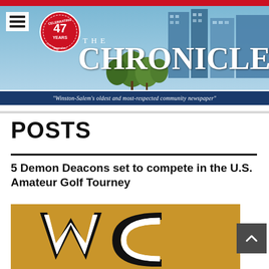THE CHRONICLE — "Winston-Salem's oldest and most-respected community newspaper"
POSTS
5 Demon Deacons set to compete in the U.S. Amateur Golf Tourney
[Figure (logo): Wake Forest Demon Deacons logo on gold background showing stylized WC letters in black and white]